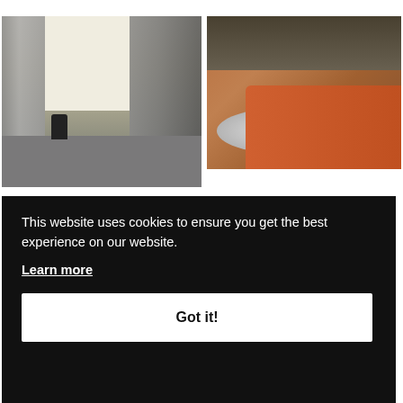[Figure (photo): Interior of a warehouse or storage facility with metal shelving racks filled with equipment. A person is crouching on the floor between the shelves. Bright white wall visible in the background.]
[Figure (photo): Interior of a modern lounge or living space with large glass windows/doors, warm orange curved sofa, a round rug, and a dark circular coffee table. Warm natural light.]
This website uses cookies to ensure you get the best experience on our website.
Learn more
Got it!